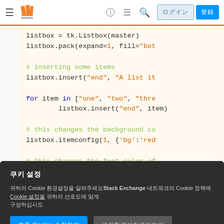Stack Overflow navigation bar with logo, icons, and login/signup buttons
[Figure (screenshot): Python code snippet showing Tkinter Listbox usage with insert, itemconfig calls, comments in green, keywords in blue, strings in orange]
쿠키 설정
귀하의 Cookie 환경설정을 알려주세요Stack Exchange 네트워크의 Cookie 정책에 Cookie 설정을 귀하의 선호도에 맞게 구성하십시오
모든 Cookie 수락하기   쿠키환경설정관리하기
root.mainloop()